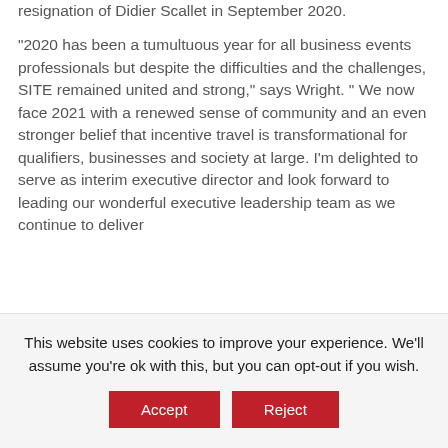resignation of Didier Scallet in September 2020.

“2020 has been a tumultuous year for all business events professionals but despite the difficulties and the challenges, SITE remained united and strong,” says Wright. “ We now face 2021 with a renewed sense of community and an even stronger belief that incentive travel is transformational for qualifiers, businesses and society at large. I’m delighted to serve as interim executive director and look forward to leading our wonderful executive leadership team as we continue to deliver
This website uses cookies to improve your experience. We'll assume you're ok with this, but you can opt-out if you wish.